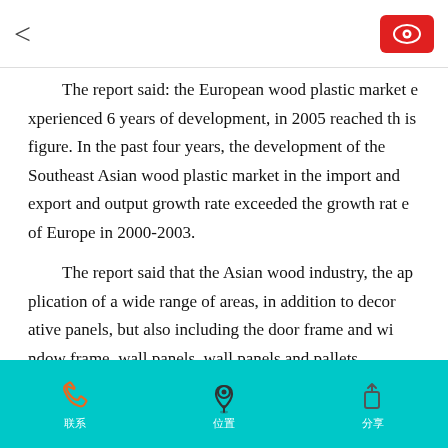< [back] [eye icon]
The report said: the European wood plastic market experienced 6 years of development, in 2005 reached this figure. In the past four years, the development of the Southeast Asian wood plastic market in the import and export and output growth rate exceeded the growth rate of Europe in 2000-2003.
The report said that the Asian wood industry, the application of a wide range of areas, in addition to decorative panels, but also including the door frame and window frame, wall panels, wall panels and pallets.
联系  位置  分享